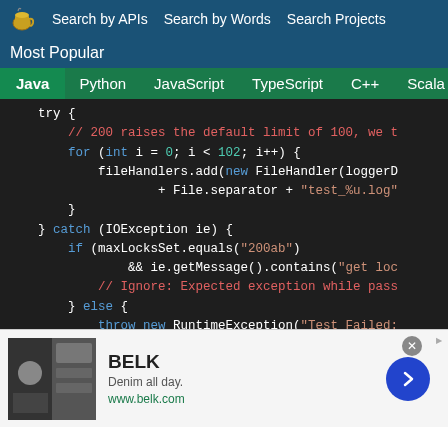Search by APIs  Search by Words  Search Projects
Most Popular
Java  Python  JavaScript  TypeScript  C++  Scala
[Figure (screenshot): Java code snippet showing try-catch-finally block with FileHandler creation and IOException handling]
[Figure (screenshot): Advertisement for BELK - Denim all day. www.belk.com]